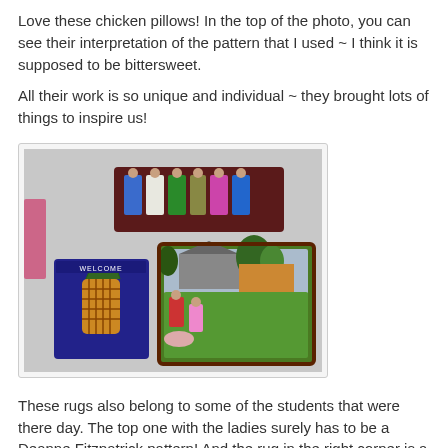Love these chicken pillows!  In the top of the photo, you can see their interpretation of the pattern that I used ~ I think it is supposed to be bittersweet.
All their work is so unique and individual ~ they brought lots of things to inspire us!
[Figure (photo): Photo of hooked rugs displayed on a wall: a rectangular rug with ladies/figures in colorful dresses at top center, a welcome rug with a pineapple design at lower left, and a large pictorial rug showing rug hookers working outdoors with a cottage scene at lower right.]
These rugs also belong to some of the students that were there day.  The top one with the ladies surely has to be a Deanne Fitzpatrick pattern! And the rug in the right corner is a pictorial showing rug hookers working in the out of doors ~